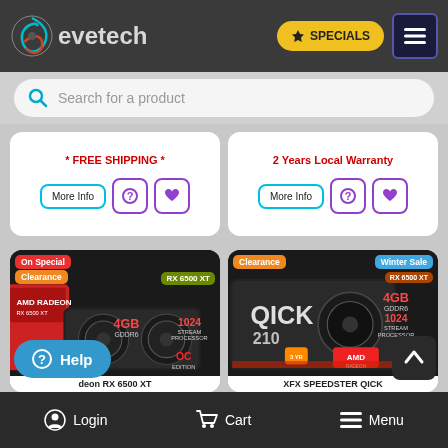Revetech — SPECIALS
Search for a product
* FREE SHIPPING *
More Info
2 Years Local Warranty
More Info
[Figure (screenshot): AMD Radeon RX 6500 XT 4GB GDDR6 1024 Stream Processor OC Edition product card with On Special and Clearance badges]
deon RX 6500 XT
[Figure (screenshot): XFX Speedster QICK RX 6500 XT 4GB GDDR6 1024 Stream Processor product card with Clearance and Winter Sale badges]
XFX SPEEDSTER QICK
Login   Cart   Menu